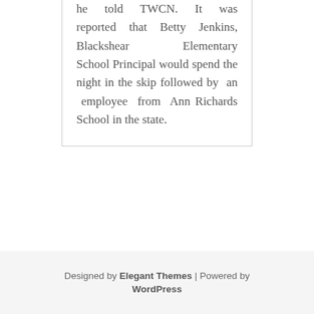he told TWCN. It was reported that Betty Jenkins, Blackshear Elementary School Principal would spend the night in the skip followed by an employee from Ann Richards School in the state.
Designed by Elegant Themes | Powered by WordPress